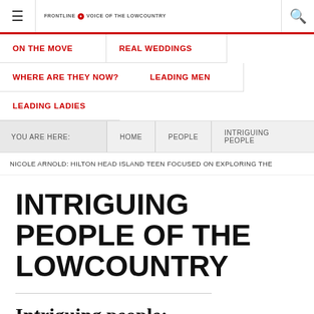≡  FRONTLINE VOICE of the LOWCOUNTRY  🔍
ON THE MOVE
REAL WEDDINGS
WHERE ARE THEY NOW?
LEADING MEN
LEADING LADIES
YOU ARE HERE:  HOME  PEOPLE  INTRIGUING PEOPLE
NICOLE ARNOLD: HILTON HEAD ISLAND TEEN FOCUSED ON EXPLORING THE
INTRIGUING PEOPLE OF THE LOWCOUNTRY
Intriguing people: